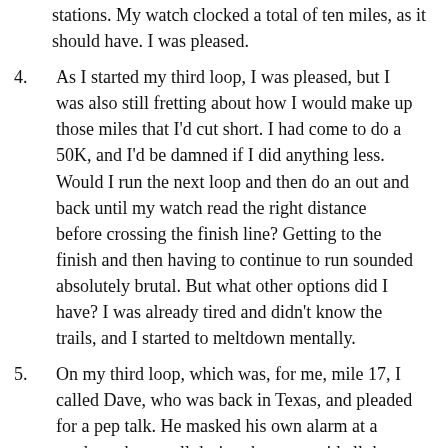stations. My watch clocked a total of ten miles, as it should have. I was pleased.
4. As I started my third loop, I was pleased, but I was also still fretting about how I would make up those miles that I'd cut short. I had come to do a 50K, and I'd be damned if I did anything less. Would I run the next loop and then do an out and back until my watch read the right distance before crossing the finish line? Getting to the finish and then having to continue to run sounded absolutely brutal. But what other options did I have? I was already tired and didn't know the trails, and I started to meltdown mentally.
5. On my third loop, which was, for me, mile 17, I called Dave, who was back in Texas, and pleaded for a pep talk. He masked his own alarm at a random phone call during the race, said all the right things, contacted my friend Jessica during my next loop, and gave her a heads up.